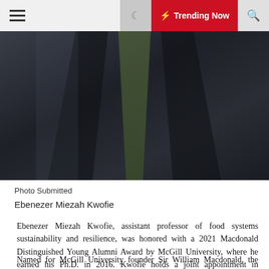≡  ☾  ⚡ Trending Now  🔍
[Figure (photo): Partial photo of a person wearing a dark suit jacket with a tie, cropped to show torso/chest area only]
Photo Submitted
Ebenezer Miezah Kwofie
Ebenezer Miezah Kwofie, assistant professor of food systems sustainability and resilience, was honored with a 2021 Macdonald Distinguished Young Alumni Award by McGill University, where he earned his Ph.D. in 2016. Kwofie holds a joint appointment in Biological and Agricultural Engineering, Chemical Engineering and Food Science departments at U of A.
Named for McGill University founder Sir William Macdonald, the award recognizes outstanding